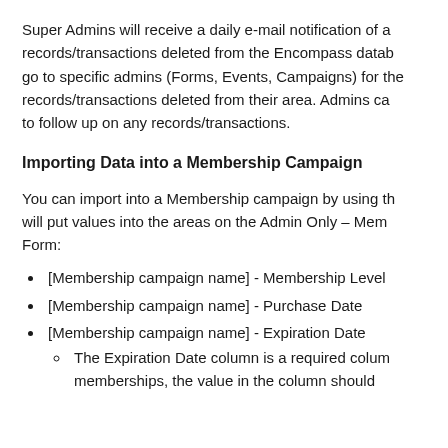Super Admins will receive a daily e-mail notification of a records/transactions deleted from the Encompass datab go to specific admins (Forms, Events, Campaigns) for the records/transactions deleted from their area. Admins ca to follow up on any records/transactions.
Importing Data into a Membership Campaign
You can import into a Membership campaign by using th will put values into the areas on the Admin Only – Mem Form:
[Membership campaign name] - Membership Level
[Membership campaign name] - Purchase Date
[Membership campaign name] - Expiration Date
The Expiration Date column is a required colum memberships, the value in the column should